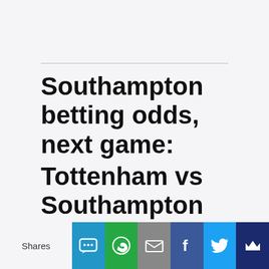Southampton betting odds, next game:
Tottenham vs Southampton odds: result, both teams to score, correct score &
Shares | social share buttons